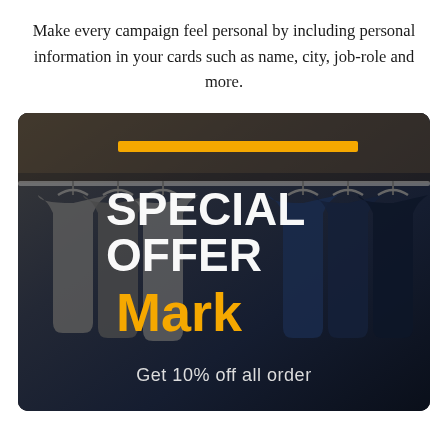Make every campaign feel personal by including personal information in your cards such as name, city, job-role and more.
[Figure (illustration): A promotional card showing clothing hanging on a rack in a dark background with the text 'SPECIAL OFFER Mark Get 10% off all order' overlaid, with an orange horizontal bar accent at the top.]